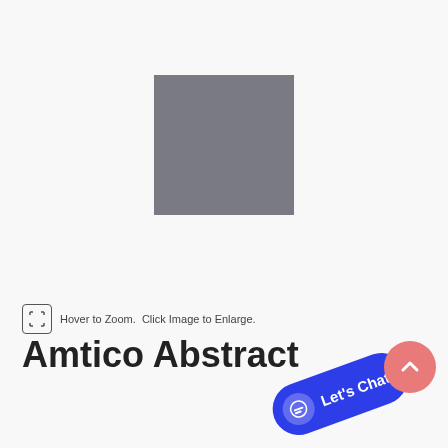[Figure (photo): Grey square placeholder product image centered on light grey background]
Hover to Zoom.  Click Image to Enlarge.
Amtico Abstract Shimmer Metal Se...